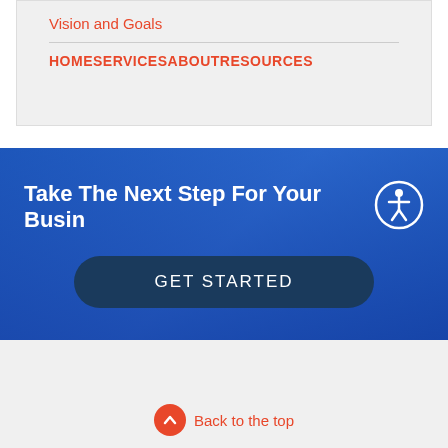Vision and Goals
HOMESERVICESABOUTRESOURCES
Take The Next Step For Your Busin
GET STARTED
Back to the top